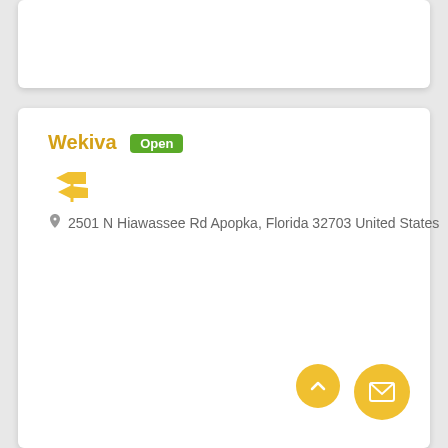Wekiva Open
2501 N Hiawassee Rd Apopka, Florida 32703 United States